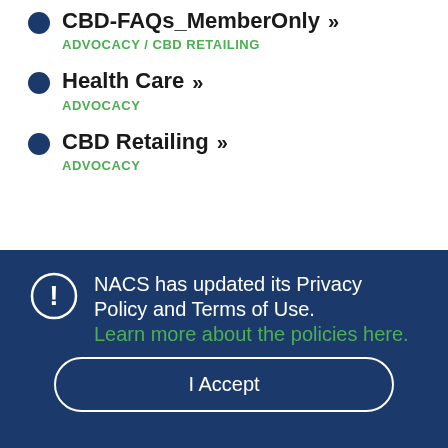CBD-FAQs_MemberOnly >> ADVOCACY / CBD RETAILING
Health Care >> ADVOCACY
CBD Retailing >> ADVOCACY
NACS has updated its Privacy Policy and Terms of Use. Learn more about the policies here.
I Accept